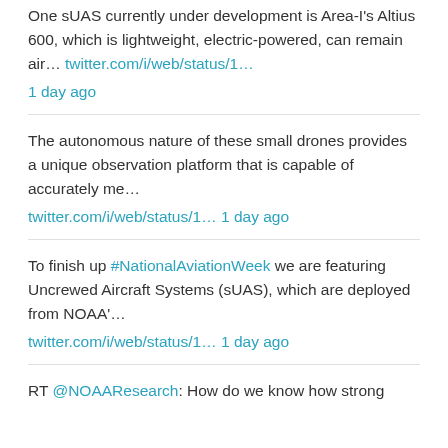One sUAS currently under development is Area-I's Altius 600, which is lightweight, electric-powered, can remain air... twitter.com/i/web/status/1... 1 day ago
The autonomous nature of these small drones provides a unique observation platform that is capable of accurately me... twitter.com/i/web/status/1... 1 day ago
To finish up #NationalAviationWeek we are featuring Uncrewed Aircraft Systems (sUAS), which are deployed from NOAA'... twitter.com/i/web/status/1... 1 day ago
RT @NOAAResearch: How do we know how strong